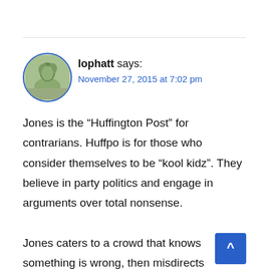[Figure (photo): Circular avatar photo of user lophatt with a blue circular border, showing a nature/outdoor scene]
lophatt says:
November 27, 2015 at 7:02 pm
Jones is the “Huffington Post” for contrarians. Huffpo is for those who consider themselves to be “kool kidz”. They believe in party politics and engage in arguments over total nonsense.
Jones caters to a crowd that knows something is wrong, then misdirects